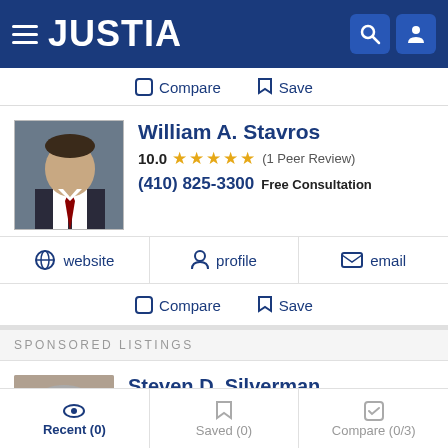JUSTIA
Compare   Save
William A. Stavros
10.0 ★★★★★ (1 Peer Review)
(410) 825-3300  Free Consultation
website   profile   email
Compare   Save
SPONSORED LISTINGS
Steven D. Silverman
DUI Lawyer Serving Baltimore, MD
Recent (0)   Saved (0)   Compare (0/3)